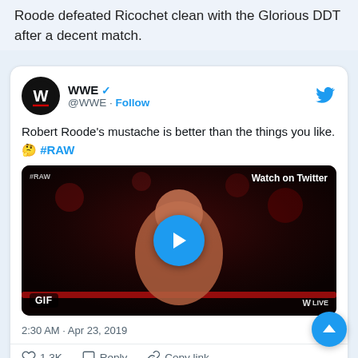Roode defeated Ricochet clean with the Glorious DDT after a decent match.
[Figure (screenshot): Embedded tweet from @WWE showing: 'Robert Roode's mustache is better than the things you like. 🤔 #RAW' with a GIF video thumbnail of Robert Roode, timestamped 2:30 AM · Apr 23, 2019, with 1.3K likes, Reply, and Copy link actions, and a 'Read 200 replies' link.]